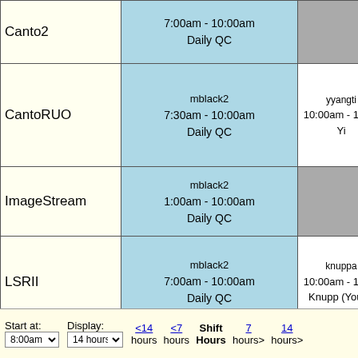| Instrument | Slot 1 | Slot 2 |
| --- | --- | --- |
| Canto2 | 7:00am - 10:00am
Daily QC | (gray) |
| CantoRUO | mblack2
7:30am - 10:00am
Daily QC | yyangti
10:00am - 12:15
Yi |
| ImageStream | mblack2
1:00am - 10:00am
Daily QC | (gray) |
| LSRII | mblack2
7:00am - 10:00am
Daily QC | knuppa
10:00am - 12:00
Knupp (Young) |
| Symphony |  |  |
Start at: 8:00am | Display: 14 hours | <14 hours | <7 hours | Shift Hours | 7 hours> | 14 hours>